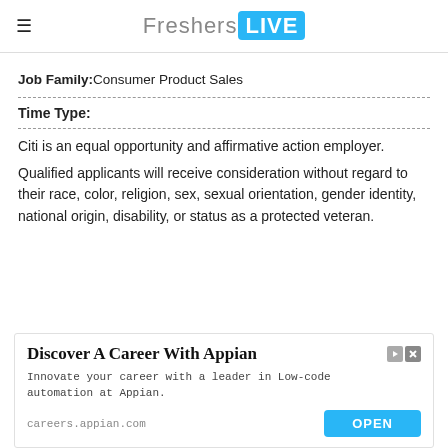FreshersLIVE
Job Family: Consumer Product Sales
Time Type:
Citi is an equal opportunity and affirmative action employer. Qualified applicants will receive consideration without regard to their race, color, religion, sex, sexual orientation, gender identity, national origin, disability, or status as a protected veteran.
[Figure (infographic): Advertisement banner for Appian: 'Discover A Career With Appian' — Innovate your career with a leader in Low-code automation at Appian. careers.appian.com. OPEN button.]